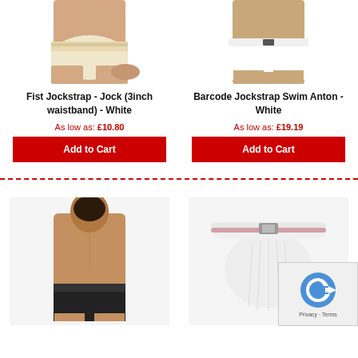[Figure (photo): Left product: Man wearing Fist Jockstrap white, cropped body shot]
[Figure (photo): Right product: Barcode Jockstrap Swim Anton white, cropped body shot]
Fist Jockstrap - Jock (3inch waistband) - White
As low as: £10.80
Add to Cart
Barcode Jockstrap Swim Anton - White
As low as: £19.19
Add to Cart
[Figure (photo): Bottom left: Man wearing black jockstrap, full torso shot]
[Figure (photo): Bottom right: White jockstrap cup with pink stripe, product shot]